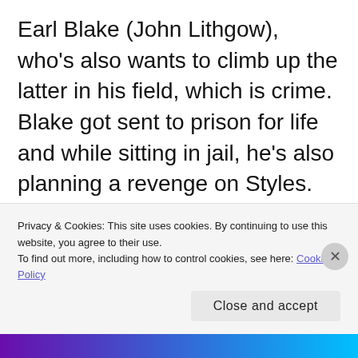Earl Blake (John Lithgow),  who's also wants to climb up the latter in his field, which is crime. Blake got sent to prison for life and while sitting in jail, he's also planning a revenge on Styles. We fast forward a few years where Styles is now a family man and an Assistant DA. One night Blake broke out of prison and for the rest of the movie he basically made Styles life a living hell. The performances by Washington and Lithgow were great, they
Privacy & Cookies: This site uses cookies. By continuing to use this website, you agree to their use.
To find out more, including how to control cookies, see here: Cookie Policy
Close and accept